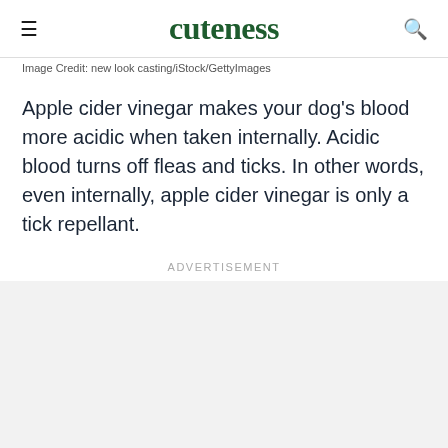cuteness
Image Credit: new look casting/iStock/GettyImages
Apple cider vinegar makes your dog's blood more acidic when taken internally. Acidic blood turns off fleas and ticks. In other words, even internally, apple cider vinegar is only a tick repellant.
Advertisement